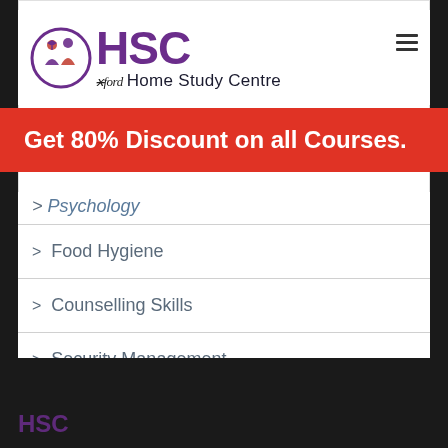[Figure (logo): HSC Oxford Home Study Centre logo with purple circular emblem and HSC text]
Get 80% Discount on all Courses.
> Food Hygiene
> Counselling Skills
> Security Management
[Figure (logo): HSC footer logo on dark background]